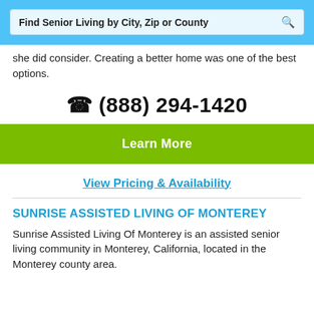Find Senior Living by City, Zip or County
she did consider. Creating a better home was one of the best options.
(888) 294-1420
Learn More
View Pricing & Availability
SUNRISE ASSISTED LIVING OF MONTEREY
Sunrise Assisted Living Of Monterey is an assisted senior living community in Monterey, California, located in the Monterey county area.